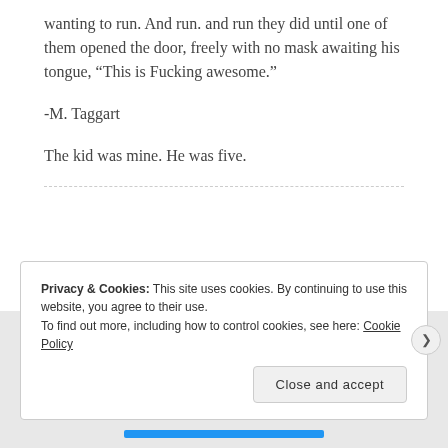wanting to run. And run. and run they did until one of them opened the door, freely with no mask awaiting his tongue, “This is Fucking awesome.”
-M. Taggart
The kid was mine. He was five.
Privacy & Cookies: This site uses cookies. By continuing to use this website, you agree to their use.
To find out more, including how to control cookies, see here: Cookie Policy
Close and accept